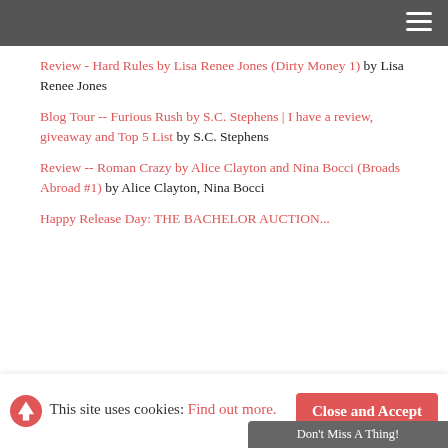Review - Hard Rules by Lisa Renee Jones (Dirty Money 1) by Lisa Renee Jones
Blog Tour -- Furious Rush by S.C. Stephens | I have a review, giveaway and Top 5 List by S.C. Stephens
Review -- Roman Crazy by Alice Clayton and Nina Bocci (Broads Abroad #1) by Alice Clayton, Nina Bocci
Happy Release Day: THE BACHELOR AUCTION...
This site uses cookies: Find out more.
Close and Accept
Don't Miss A Thing!